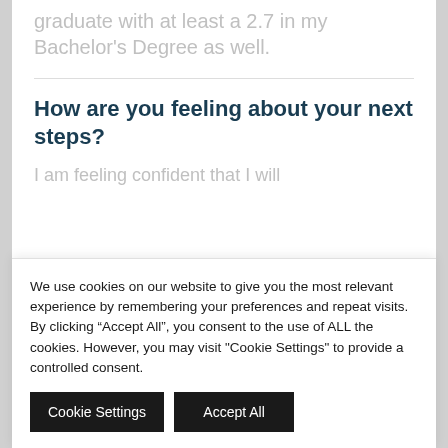graduate with at least a 2.7 in my Bachelor's Degree as well.
How are you feeling about your next steps?
I am feeling confident that I will
We use cookies on our website to give you the most relevant experience by remembering your preferences and repeat visits. By clicking “Accept All”, you consent to the use of ALL the cookies. However, you may visit "Cookie Settings" to provide a controlled consent.